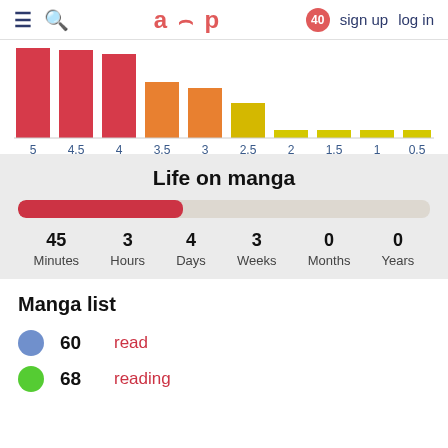≡ 🔍  aup  40  sign up  log in
[Figure (bar-chart): Score distribution]
Life on manga
45 Minutes  3 Hours  4 Days  3 Weeks  0 Months  0 Years
Manga list
60  read
68  reading